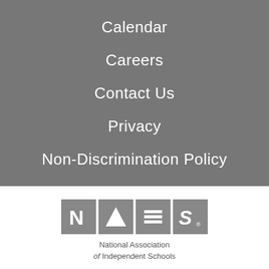Calendar
Careers
Contact Us
Privacy
Non-Discrimination Policy
[Figure (logo): NAIS logo — four gray squares each containing a letter/symbol spelling NAIS, with a registered trademark symbol, above the text 'National Association of Independent Schools']
[Figure (illustration): Red apple illustration, partially visible at bottom of page]